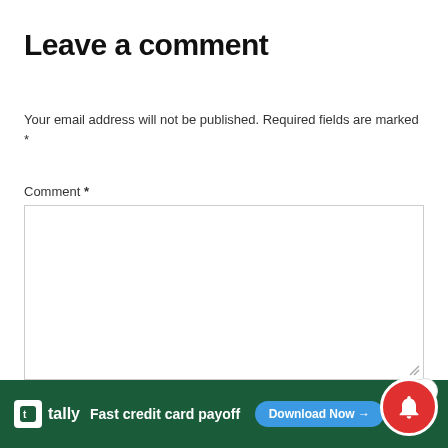Leave a comment
Your email address will not be published. Required fields are marked *
Comment *
Name *
[Figure (screenshot): Tally ad banner: 'Fast credit card payoff' with Download Now button, close icons, and notification bell overlay]